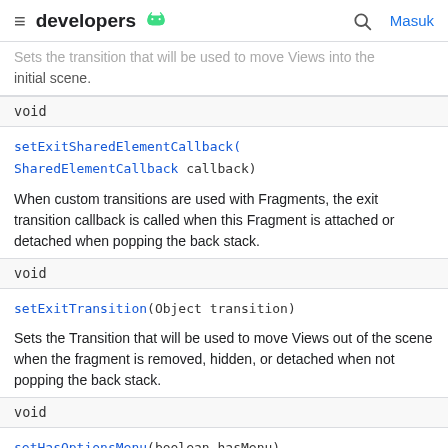developers [android icon] Masuk
Sets the transition that will be used to move Views into the initial scene.
| void |
| setExitSharedElementCallback(SharedElementCallback callback) |
| When custom transitions are used with Fragments, the exit transition callback is called when this Fragment is attached or detached when popping the back stack. |
| void |
| setExitTransition(Object transition) |
| Sets the Transition that will be used to move Views out of the scene when the fragment is removed, hidden, or detached when not popping the back stack. |
| void |
| setHasOptionsMenu(boolean hasMenu) |